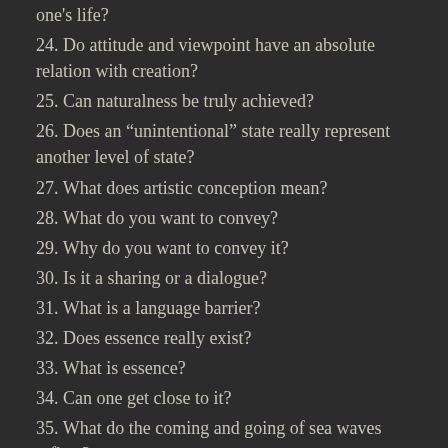one's life?
24. Do attitude and viewpoint have an absolute relation with creation?
25. Can naturalness be truly achieved?
26. Does an “unintentional” state really represent another level of state?
27. What does artistic conception mean?
28. What do you want to convey?
29. Why do you want to convey it?
30. Is it a sharing or a dialogue?
31. What is a language barrier?
32. Does essence really exist?
33. What is essence?
34. Can one get close to it?
35. What do the coming and going of sea waves reflect?
36. What is the relationship between possession and disappearance?